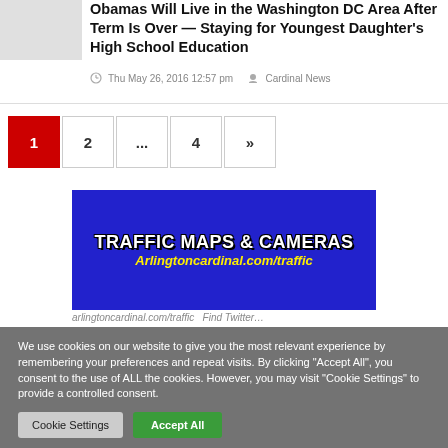[Figure (photo): Article thumbnail image placeholder (grey box)]
Obamas Will Live in the Washington DC Area After Term Is Over — Staying for Youngest Daughter's High School Education
Thu May 26, 2016 12:57 pm   Cardinal News
1
2
...
4
»
[Figure (infographic): Traffic Maps & Cameras advertisement banner. Blue background with bold white text 'TRAFFIC MAPS & CAMERAS' and yellow italic text 'Arlingtoncardinal.com/traffic']
We use cookies on our website to give you the most relevant experience by remembering your preferences and repeat visits. By clicking "Accept All", you consent to the use of ALL the cookies. However, you may visit "Cookie Settings" to provide a controlled consent.
Cookie Settings    Accept All